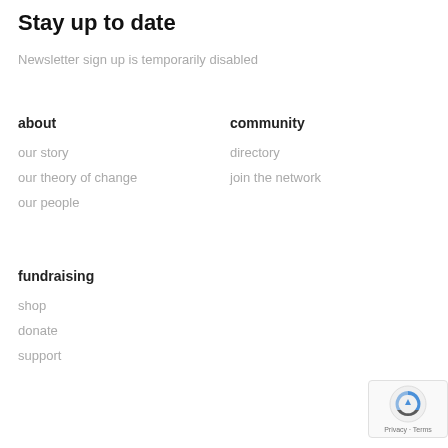Stay up to date
Newsletter sign up is temporarily disabled
about
our story
our theory of change
our people
community
directory
join the network
fundraising
shop
donate
support
[Figure (logo): reCAPTCHA badge with Privacy and Terms text]